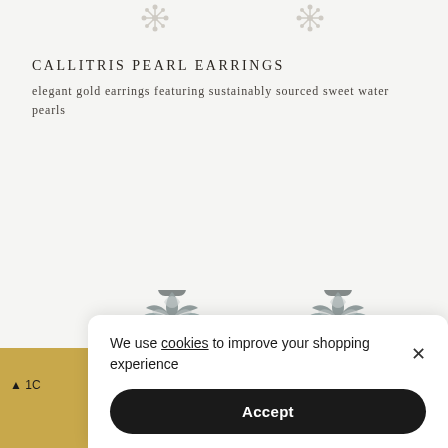CALLITRIS PEARL EARRINGS
elegant gold earrings featuring sustainably sourced sweet water pearls
[Figure (photo): Two decorative floral/lotus-shaped stud earring backs in silver/grey metal, shown side by side on a light background]
We use cookies to improve your shopping experience
Accept